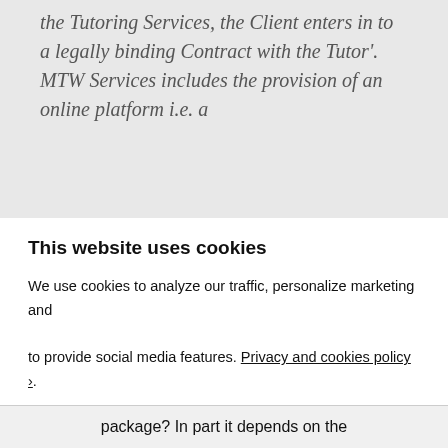the Tutoring Services, the Client enters in to a legally binding Contract with the Tutor'. MTW Services includes the provision of an online platform i.e. a
This website uses cookies
We use cookies to analyze our traffic, personalize marketing and to provide social media features. Privacy and cookies policy ›.
ONLY NECESSARY
ALLOW ALL COOKIES
CONFIGURE SETTINGS ›
package? In part it depends on the